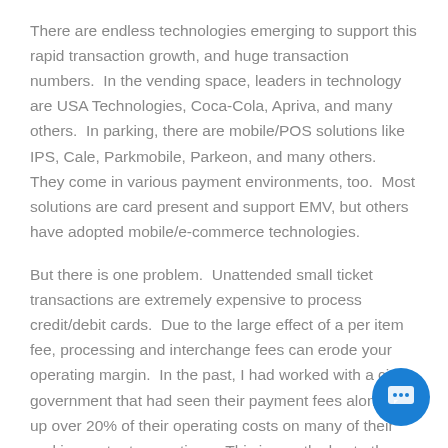There are endless technologies emerging to support this rapid transaction growth, and huge transaction numbers.  In the vending space, leaders in technology are USA Technologies, Coca-Cola, Apriva, and many others.  In parking, there are mobile/POS solutions like IPS, Cale, Parkmobile, Parkeon, and many others.  They come in various payment environments, too.  Most solutions are card present and support EMV, but others have adopted mobile/e-commerce technologies.
But there is one problem.  Unattended small ticket transactions are extremely expensive to process credit/debit cards.  Due to the large effect of a per item fee, processing and interchange fees can erode your operating margin.  In the past, I had worked with a city government that had seen their payment fees alone take up over 20% of their operating costs on many of their parking meter transactions.  This is mostly due to the Durbin Amendment